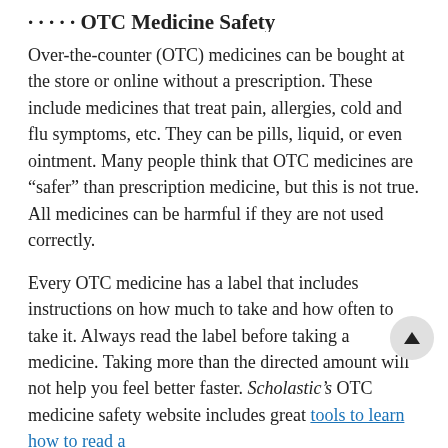OTC Medicine Safety
Over-the-counter (OTC) medicines can be bought at the store or online without a prescription. These include medicines that treat pain, allergies, cold and flu symptoms, etc. They can be pills, liquid, or even ointment. Many people think that OTC medicines are “safer” than prescription medicine, but this is not true. All medicines can be harmful if they are not used correctly.
Every OTC medicine has a label that includes instructions on how much to take and how often to take it. Always read the label before taking a medicine. Taking more than the directed amount will not help you feel better faster. Scholastic’s OTC medicine safety website includes great tools to learn how to read a